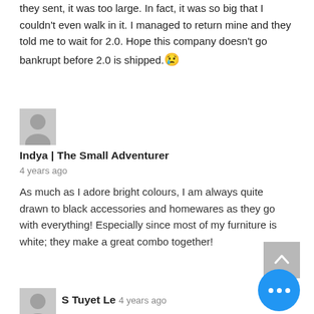they sent, it was too large. In fact, it was so big that I couldn't even walk in it. I managed to return mine and they told me to wait for 2.0. Hope this company doesn't go bankrupt before 2.0 is shipped. 😢
[Figure (illustration): Grey placeholder avatar icon for commenter Indya]
Indya | The Small Adventurer
4 years ago
As much as I adore bright colours, I am always quite drawn to black accessories and homewares as they go with everything! Especially since most of my furniture is white; they make a great combo together!
[Figure (illustration): Grey placeholder avatar icon for commenter S Tuyet Le]
S Tuyet Le   4 years ago